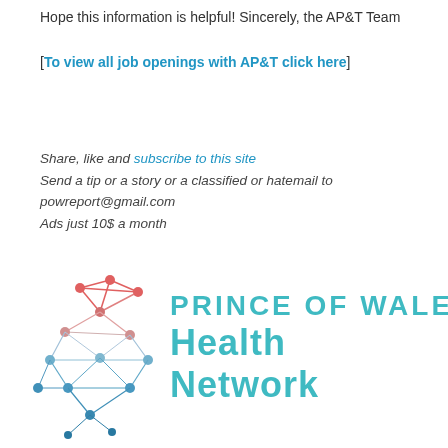Hope this information is helpful! Sincerely, the AP&T Team
[To view all job openings with AP&T click here]
Share, like and subscribe to this site
Send a tip or a story or a classified or hatemail to
powreport@gmail.com
Ads just 10$ a month
[Figure (logo): Prince of Wales Health Network logo with a geometric network/globe icon in red, pink, and blue tones on the left, and 'PRINCE OF WALES Health Network' text in teal/cyan on the right]